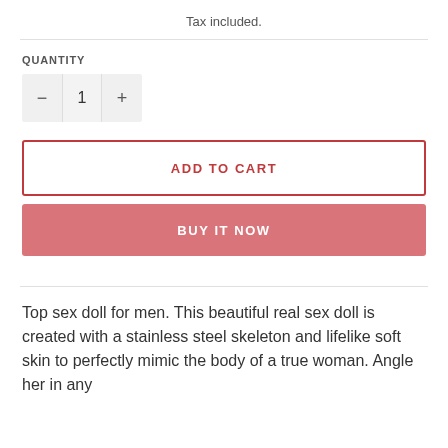Tax included.
QUANTITY
− 1 +
ADD TO CART
BUY IT NOW
Top sex doll for men. This beautiful real sex doll is created with a stainless steel skeleton and lifelike soft skin to perfectly mimic the body of a true woman. Angle her in any